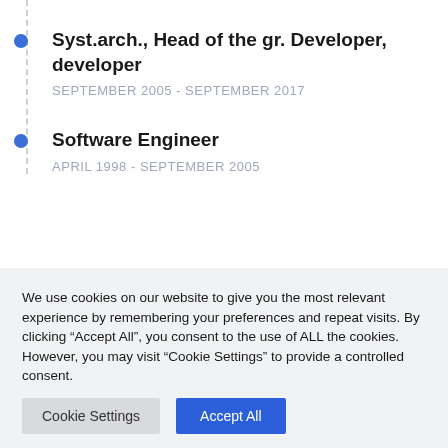Syst.arch., Head of the gr. Developer, developer
SEPTEMBER 2005 - SEPTEMBER 2017
Software Engineer
APRIL 1998 - SEPTEMBER 2005
We use cookies on our website to give you the most relevant experience by remembering your preferences and repeat visits. By clicking “Accept All”, you consent to the use of ALL the cookies. However, you may visit "Cookie Settings" to provide a controlled consent.